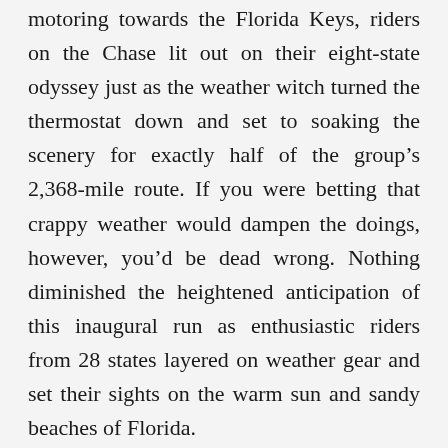motoring towards the Florida Keys, riders on the Chase lit out on their eight-state odyssey just as the weather witch turned the thermostat down and set to soaking the scenery for exactly half of the group’s 2,368-mile route. If you were betting that crappy weather would dampen the doings, however, you’d be dead wrong. Nothing diminished the heightened anticipation of this inaugural run as enthusiastic riders from 28 states layered on weather gear and set their sights on the warm sun and sandy beaches of Florida.
The exhilaration of the gathering for the group photo along Saint Mary’s River extended to the next day’s gloomy send off from Sault Ste. Marie in the early morning of September 6. Riders headed off into the grey, headed down...